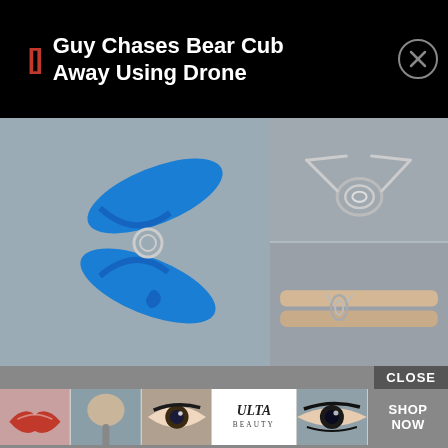[Figure (screenshot): Mobile push notification banner on black background showing a bracket icon in red and text 'Guy Chases Bear Cub Away Using Drone' in white, with a close (X) button on the right]
[Figure (photo): Composite photo showing a blue plastic clothespin on gray background (left large image), a metal spring/coil component on gray background (top right), and wooden clothespin pieces with spring on gray background (bottom right)]
[Figure (screenshot): Advertisement banner with 'CLOSE' button and Ulta Beauty ad strip showing makeup/beauty images, Ulta logo, and 'SHOP NOW' call to action button]